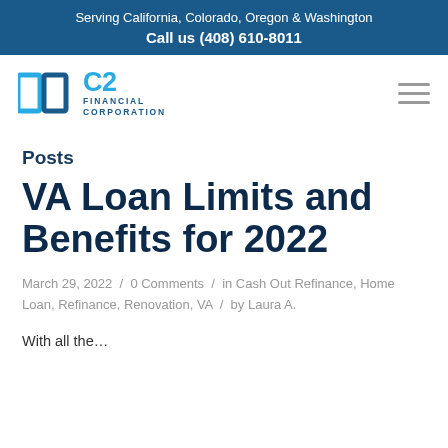Serving California, Colorado, Oregon & Washington
Call us (408) 610-8011
[Figure (logo): C2 Financial Corporation logo with two square bracket icons in blue and a text lockup reading C2 FINANCIAL CORPORATION]
Posts
VA Loan Limits and Benefits for 2022
March 29, 2022 / 0 Comments / in Cash Out Refinance, Home Loan, Refinance, Renovation, VA / by Laura A.
With all the…